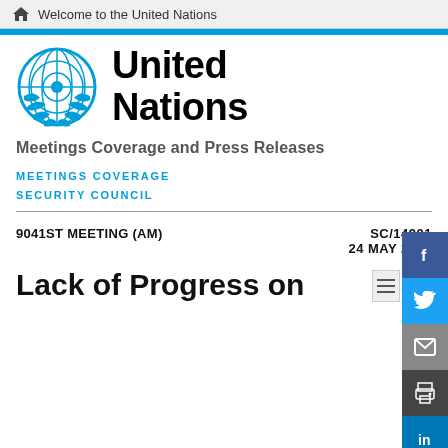Welcome to the United Nations
[Figure (logo): United Nations emblem and wordmark logo]
Meetings Coverage and Press Releases
MEETINGS COVERAGE
SECURITY COUNCIL
9041ST MEETING (AM)   SC/14901   24 MAY 2022
Lack of Progress on